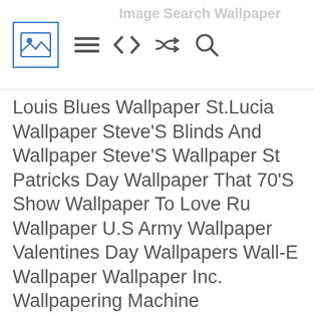Image Search Wallpaper [icon bar]
Louis Blues Wallpaper St.Lucia Wallpaper Steve'S Blinds And Wallpaper Steve'S Wallpaper St Patricks Day Wallpaper That 70'S Show Wallpaper To Love Ru Wallpaper U.S Army Wallpaper Valentines Day Wallpapers Wall-E Wallpaper Wallpaper Inc. Wallpapering Machine Wallpapers Wallpapers HD Guitar Wallpapers With Quotes Washington D.C. Wallpaper W Wallpaper WWW.Free Wallpaper X- Men Wallpaper